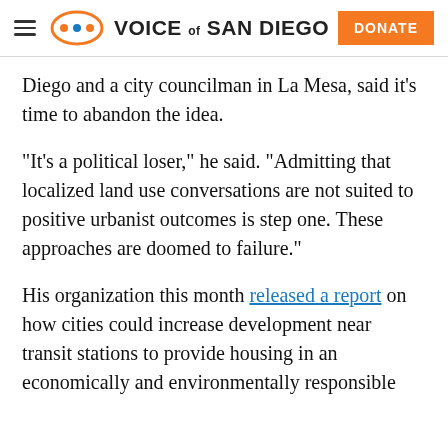Voice of San Diego — DONATE
Diego and a city councilman in La Mesa, said it's time to abandon the idea.
“It’s a political loser,” he said. “Admitting that localized land use conversations are not suited to positive urbanist outcomes is step one. These approaches are doomed to failure.”
His organization this month released a report on how cities could increase development near transit stations to provide housing in an economically and environmentally responsible